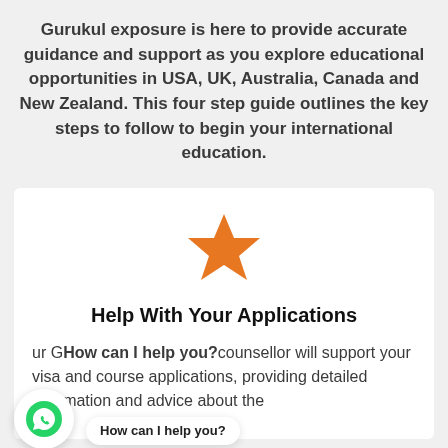Gurukul exposure is here to provide accurate guidance and support as you explore educational opportunities in USA, UK, Australia, Canada and New Zealand. This four step guide outlines the key steps to follow to begin your international education.
[Figure (illustration): Orange star icon]
Help With Your Applications
ur Gurukul expert counsellor will support your visa and course applications, providing detailed information and advice about the